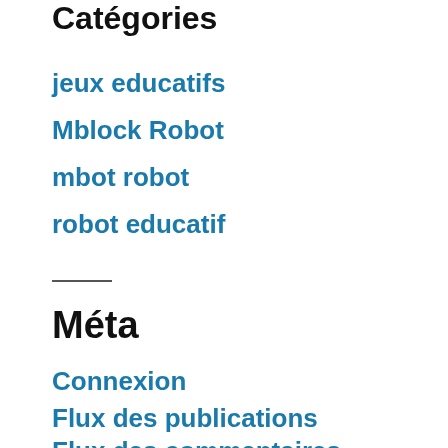Catégories
jeux educatifs
Mblock Robot
mbot robot
robot educatif
Méta
Connexion
Flux des publications
Flux des commentaires